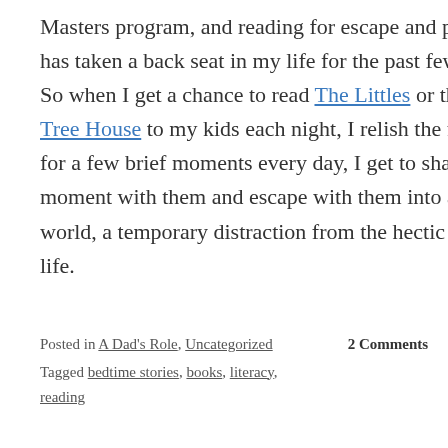Masters program, and reading for escape and pleasure has taken a back seat in my life for the past few years. So when I get a chance to read The Littles or the Magic Tree House to my kids each night, I relish the fact that, for a few brief moments every day, I get to share a moment with them and escape with them into another world, a temporary distraction from the hectic reality of life.
Posted in A Dad's Role, Uncategorized   2 Comments
Tagged bedtime stories, books, literacy, reading